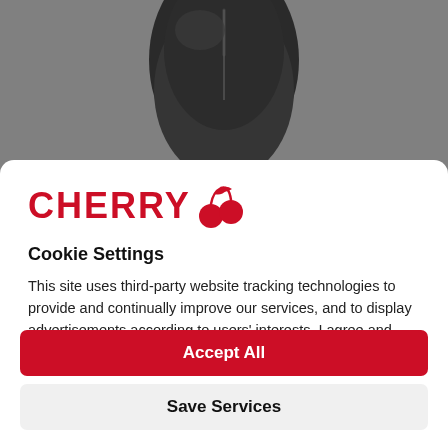[Figure (photo): Dark gray/black computer mouse photographed from above on a gray background, partially visible at the top of the page]
[Figure (logo): CHERRY brand logo in red with cherry icon]
Cookie Settings
This site uses third-party website tracking technologies to provide and continually improve our services, and to display advertisements according to users' interests. I agree and may revoke or change my consent at any time with effect for the future.
Privacy Policy   Imprint   more
Accept All
Save Services